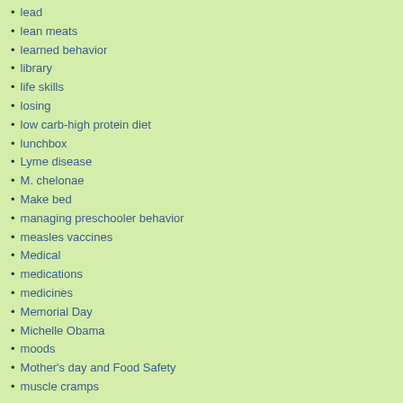lead
lean meats
learned behavior
library
life skills
losing
low carb-high protein diet
lunchbox
Lyme disease
M. chelonae
Make bed
managing preschooler behavior
measles vaccines
Medical
medications
medicines
Memorial Day
Michelle Obama
moods
Mother's day and Food Safety
muscle cramps
museum
nannies
nanny
National Asthma Education and
[Figure (photo): Child receiving a vaccination injection in the arm]
Pertussis is a serious and contagious disease in the U.S. Pertussis Disease
Pertussis
There are child from time re-vaccinated, even if they were comple
Also, pertussis vaccines are very effecti 140KB]. If pertussis is circulating in the c fully vaccinated person can catch this ve your child develops a cold that includes pertussis. The best way to know is to co
Pertussis Symptoms
Pertussis can cause serious illness in in starts like the common cold, with runny maybe mild cough or fever. But after 1–